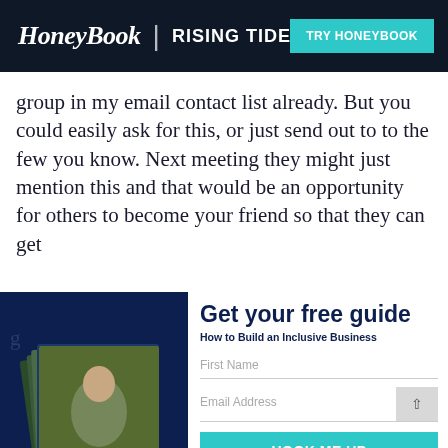HoneyBook | RISING TIDE  TRY HONEYBOOK
group in my email contact list already. But you could easily ask for this, or just send out to to the few you know. Next meeting they might just mention this and that would be an opportunity for others to become your friend so that they can get
[Figure (screenshot): Popup modal for free guide download: 'Get your free guide' - 'How to Build an Inclusive Business' with First Name and Email Address fields and 'HOOK ME UP' button. Left side shows dark blue panel with stacked book covers showing 'How to Build an Inclusive Business'. Terms text reads: 'By downloading, I agree to HoneyBook's Terms of Service']